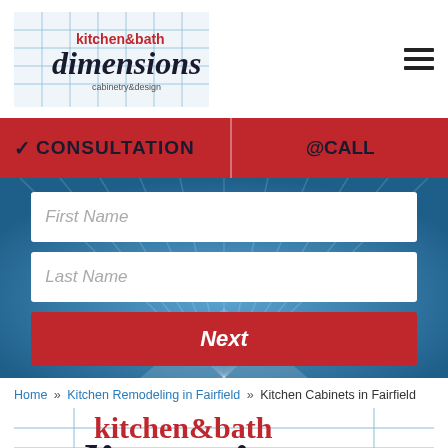[Figure (logo): Kitchen & Bath Dimensions cabinetry & design logo with grid lines background]
☰ (hamburger menu icon)
✓ CONSULTATION   @CALL
First Name
Last Name
Next
Home » Kitchen Remodeling in Fairfield » Kitchen Cabinets in Fairfield
[Figure (logo): Kitchen & Bath Dimensions large logo at bottom of page, partially visible]